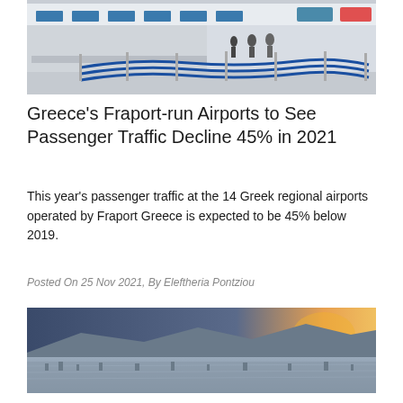[Figure (photo): Interior of an airport terminal with blue queue barriers and check-in counters]
Greece's Fraport-run Airports to See Passenger Traffic Decline 45% in 2021
This year's passenger traffic at the 14 Greek regional airports operated by Fraport Greece is expected to be 45% below 2019.
Posted On 25 Nov 2021, By Eleftheria Pontziou
[Figure (photo): Aerial panoramic view of a city at sunset with mountains in the background]